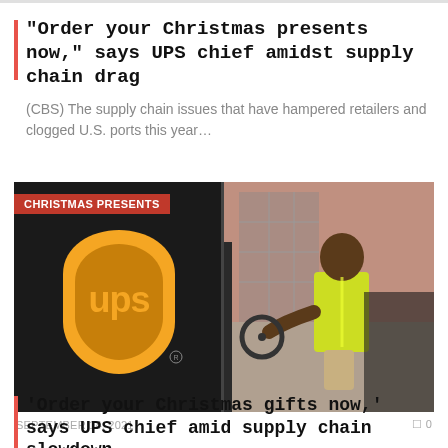“Order your Christmas presents now,” says UPS chief amidst supply chain drag
(CBS) The supply chain issues that have hampered retailers and clogged U.S. ports this year…
[Figure (photo): Two-panel news image: left panel shows the UPS logo (yellow shield with 'ups' text) on a dark truck; right panel shows a UPS driver in a yellow safety vest seated in the driver's seat. Red label 'CHRISTMAS PRESENTS' overlaid top-left.]
SEPTEMBER 14, 2021    ☐ 0
'Order your Christmas gifts now,' says UPS chief amid supply chain slowdown